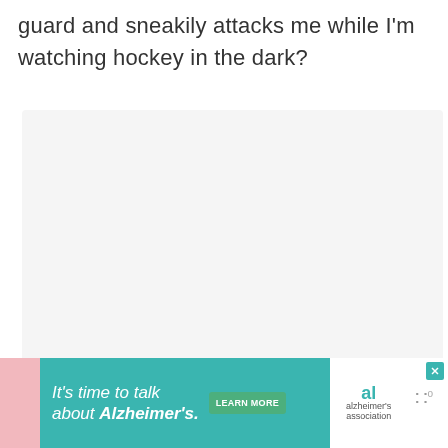guard and sneakily attacks me while I'm watching hockey in the dark?
[Figure (other): Light gray content/image area placeholder]
[Figure (infographic): Social interaction buttons: heart/like button (teal circle) with count 1.3K, share button (white circle)]
[Figure (infographic): What's Next panel showing Butternut Squash... with food thumbnail]
[Figure (infographic): Advertisement banner: It's time to talk about Alzheimer's. LEARN MORE button. Alzheimer's association logo.]